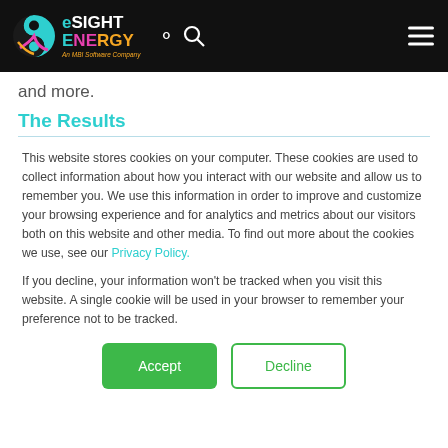eSIGHT ENERGY - An MBI Software Company
and more.
The Results
This website stores cookies on your computer. These cookies are used to collect information about how you interact with our website and allow us to remember you. We use this information in order to improve and customize your browsing experience and for analytics and metrics about our visitors both on this website and other media. To find out more about the cookies we use, see our Privacy Policy.
If you decline, your information won’t be tracked when you visit this website. A single cookie will be used in your browser to remember your preference not to be tracked.